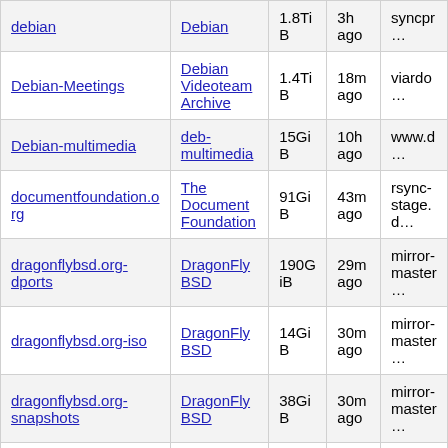| Name | Origin | Size | Updated | Source |
| --- | --- | --- | --- | --- |
| debian | Debian | 1.8TiB | 3h ago | syncpr… |
| Debian-Meetings | Debian Videoteam Archive | 1.4TiB | 18m ago | viardo… |
| Debian-multimedia | deb-multimedia | 15GiB | 10h ago | www.d… |
| documentfoundation.org | The Document Foundation | 91GiB | 43m ago | rsync-stage.d… |
| dragonflybsd.org-dports | DragonFly BSD | 190GiB | 29m ago | mirror-master… |
| dragonflybsd.org-iso | DragonFly BSD | 14GiB | 30m ago | mirror-master… |
| dragonflybsd.org-snapshots | DragonFly BSD | 38GiB | 30m ago | mirror-master… |
| eclipse.org | Eclipse Foundation | 1.2TiB | 3h ago | downlo… |
| elrepo.org | ELRepo | 57GiB | 10m ago | ftp.nlu… |